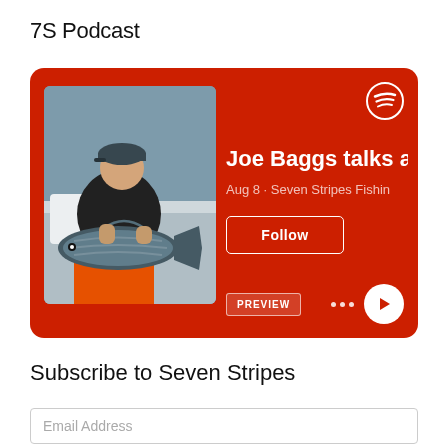7S Podcast
[Figure (screenshot): Spotify podcast card with red background showing a person holding a large tuna fish on a boat. Card shows title 'Joe Baggs talks ab...', subtitle 'Aug 8 · Seven Stripes Fishing', a Follow button, Preview button, dots menu, and play button. Spotify logo in top right corner.]
Subscribe to Seven Stripes
Email Address